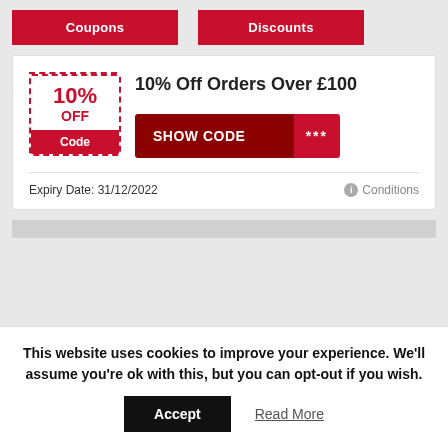Coupons | Discounts
10% Off Orders Over £100
10% OFF
Code
SHOW CODE ***
Expiry Date: 31/12/2022
Conditions
This website uses cookies to improve your experience. We'll assume you're ok with this, but you can opt-out if you wish.
Accept
Read More